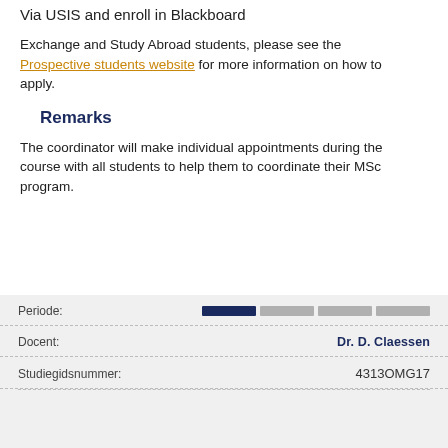Via USIS and enroll in Blackboard
Exchange and Study Abroad students, please see the Prospective students website for more information on how to apply.
Remarks
The coordinator will make individual appointments during the course with all students to help them to coordinate their MSc program.
| Field | Value |
| --- | --- |
| Periode: |  |
| Docent: | Dr. D. Claessen |
| Studiegidsnummer: | 4313OMG17 |